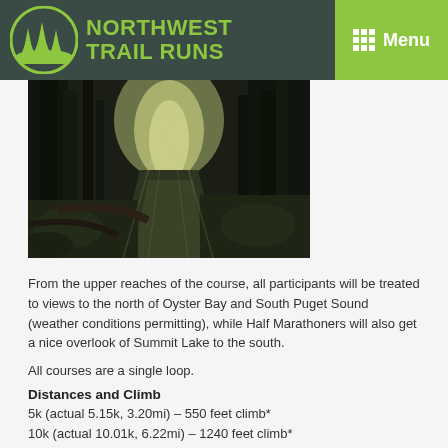NORTHWEST TRAIL RUNS
[Figure (photo): Forest trail path with light filtering through trees, mossy ground, dark wooded scene]
From the upper reaches of the course, all participants will be treated to views to the north of Oyster Bay and South Puget Sound (weather conditions permitting), while Half Marathoners will also get a nice overlook of Summit Lake to the south.
All courses are a single loop.
Distances and Climb
5k (actual 5.15k, 3.20mi) – 550 feet climb*
10k (actual 10.01k, 6.22mi) – 1240 feet climb*
Half Marathon (actual 21.35k, 13.27mi) – 2560 feet climb*
* Distances are measured using a measuring wheel, and climb is